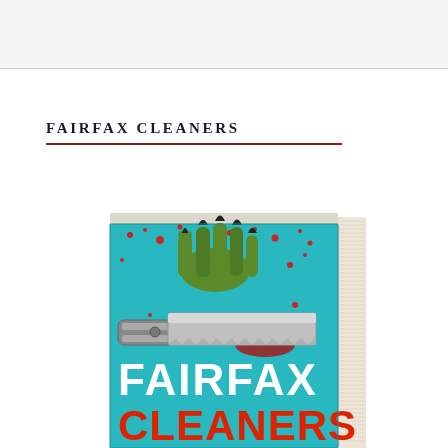FAIRFAX CLEANERS
[Figure (photo): A book titled 'Fairfax Cleaners' shown at an angle. The book cover features a teal/cyan background with blood splatters, a green monster/zombie claw hand at the top, a large hacksaw/cleaver in the middle, and the title 'FAIRFAX CLEANERS' in large white and red distressed letters at the bottom. The book spine shows pages fanned out on the right side.]